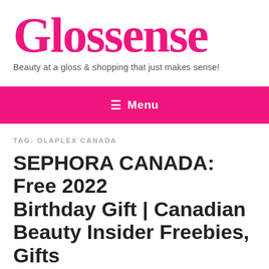[Figure (logo): Glossense logo with tagline: Beauty at a gloss & shopping that just makes sense!]
≡ Menu
TAG: OLAPLEX CANADA
SEPHORA CANADA: Free 2022 Birthday Gift | Canadian Beauty Insider Freebies, Gifts